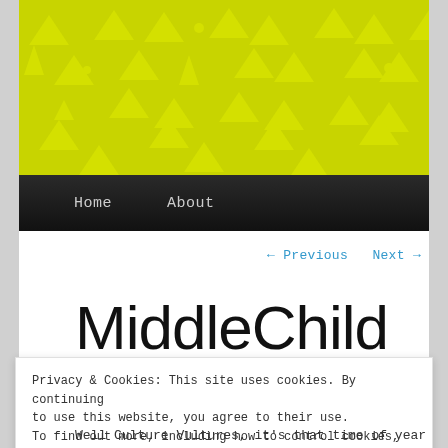[Figure (illustration): Yellow-green banner with scattered yellow triangle shapes (pointing up and down) and small circles on a lime-green background]
Home   About
← Previous   Next →
MiddleChild love by an
Privacy & Cookies: This site uses cookies. By continuing to use this website, you agree to their use. To find out more, including how to control cookies, see here: Cookie Policy
Close and accept
Well Culture Vultures, it's that time of year